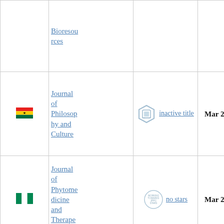| Country | Journal | Status | Date |
| --- | --- | --- | --- |
| [Ghana flag] | Bioresources |  |  |
| [Ghana flag] | Journal of Philosophy and Culture | inactive title | Mar 2019 |
| [Nigeria flag] | Journal of Phytomedicine and Therapeutics | no stars | Mar 2019 |
|  | Journal... |  |  |